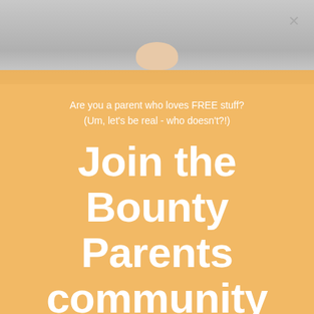[Figure (photo): Background photo showing a baby/child, partially visible at the top of the image with a gray/white background. An orange/amber semi-transparent overlay covers the lower portion.]
Are you a parent who loves FREE stuff? (Um, let's be real - who doesn't?!)
Join the Bounty Parents community and be rewarded!